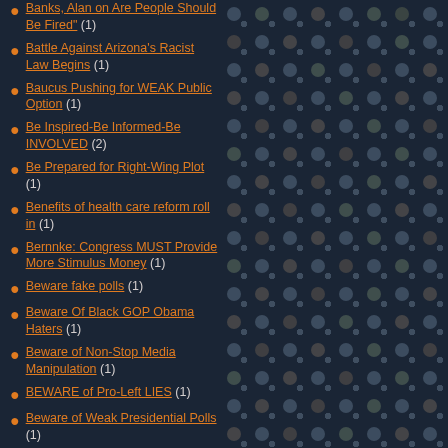Banks, Alan on Are People Should Be Fired (1)
Battle Against Arizona's Racist Law Begins (1)
Baucus Pushing for WEAK Public Option (1)
Be Inspired-Be Informed-Be INVOLVED (2)
Be Prepared for Right-Wing Plot (1)
Benefits of health care reform roll in (1)
Bernnke: Congress MUST Provide More Stimulus Money (1)
Beware fake polls (1)
Beware Of Black GOP Obama Haters (1)
Beware of Non-Stop Media Manipulation (1)
BEWARE of Pro-Left LIES (1)
Beware of Weak Presidential Polls (1)
BEWARE: Black Obama Bashers Ahead (1)